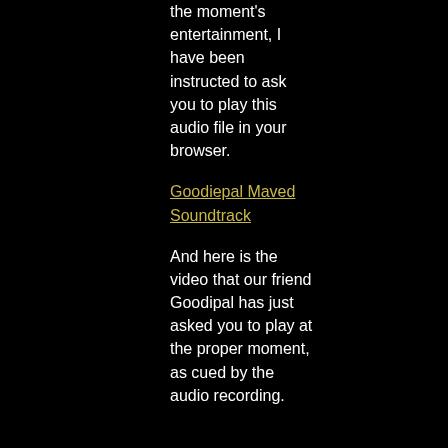the moment's entertainment, I have been instructed to ask you to play this audio file in your browser.
Goodiepal Maved Soundtrack
And here is the video that our friend Goodipal has just asked you to play at the proper moment, as cued by the audio recording.